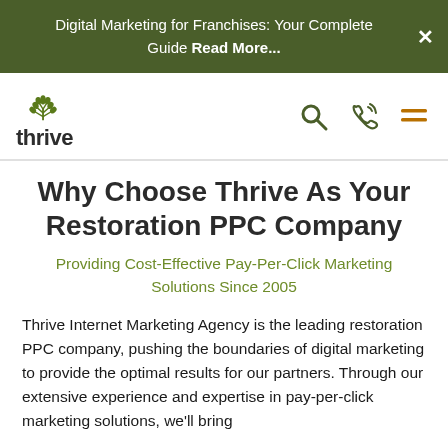Digital Marketing for Franchises: Your Complete Guide Read More...
[Figure (logo): Thrive Internet Marketing Agency logo with green leaf/plant icon above the word 'thrive' in dark text]
Why Choose Thrive As Your Restoration PPC Company
Providing Cost-Effective Pay-Per-Click Marketing Solutions Since 2005
Thrive Internet Marketing Agency is the leading restoration PPC company, pushing the boundaries of digital marketing to provide the optimal results for our partners. Through our extensive experience and expertise in pay-per-click marketing solutions, we'll bring